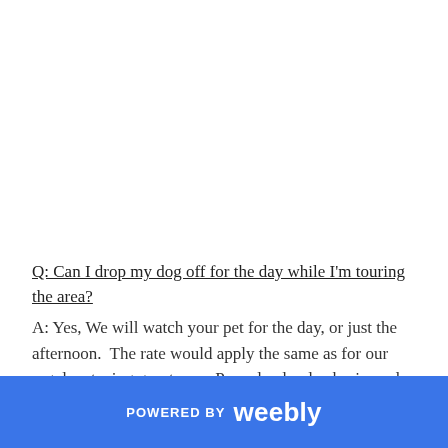Q: Can I drop my dog off for the day while I'm touring the area?
A: Yes, We will watch your pet for the day, or just the afternoon.  The rate would apply the same as for our regular staying guest, on a Per calendar day basis, and will depend on the size of your pet.
POWERED BY weebly